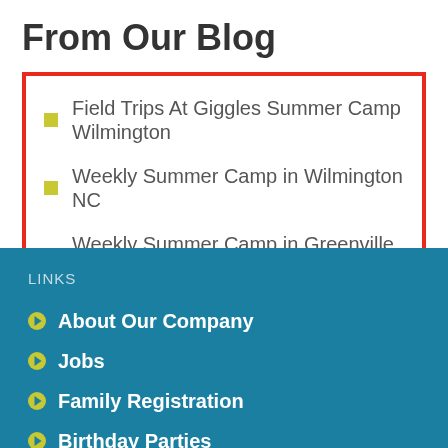From Our Blog
Field Trips At Giggles Summer Camp Wilmington
Weekly Summer Camp in Wilmington NC
Weekly Summer Camp in Greenville SC
Summer Camp in Greenville South Carolina
Summer Camp in Wilmington
LINKS
About Our Company
Jobs
Family Registration
Birthday Parties